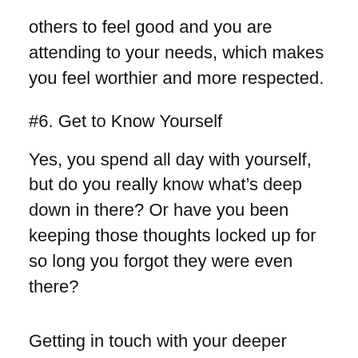others to feel good and you are attending to your needs, which makes you feel worthier and more respected.
#6. Get to Know Yourself
Yes, you spend all day with yourself, but do you really know what’s deep down in there? Or have you been keeping those thoughts locked up for so long you forgot they were even there?
Getting in touch with your deeper motivations, understanding the source of your fears, and clarifying your values and beliefs are all critical